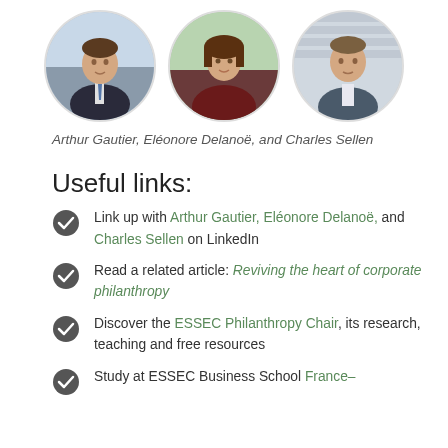[Figure (photo): Three circular portrait photos of Arthur Gautier, Eléonore Delanoë, and Charles Sellen side by side]
Arthur Gautier, Eléonore Delanoë, and Charles Sellen
Useful links:
Link up with Arthur Gautier, Eléonore Delanoë, and Charles Sellen on LinkedIn
Read a related article: Reviving the heart of corporate philanthropy
Discover the ESSEC Philanthropy Chair, its research, teaching and free resources
Study at ESSEC Business School France–